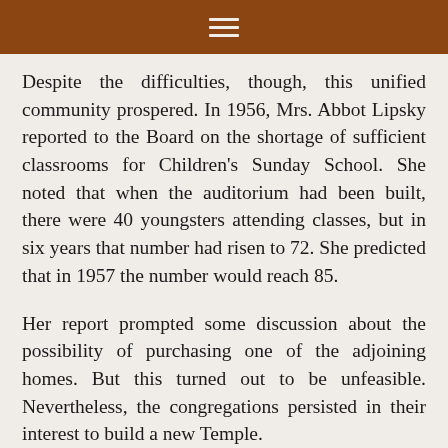≡
Despite the difficulties, though, this unified community prospered. In 1956, Mrs. Abbot Lipsky reported to the Board on the shortage of sufficient classrooms for Children's Sunday School. She noted that when the auditorium had been built, there were 40 youngsters attending classes, but in six years that number had risen to 72. She predicted that in 1957 the number would reach 85.
Her report prompted some discussion about the possibility of purchasing one of the adjoining homes. But this turned out to be unfeasible. Nevertheless, the congregations persisted in their interest to build a new Temple.